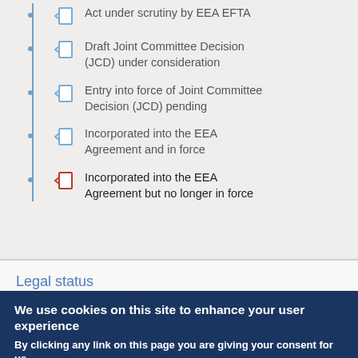Act under scrutiny by EEA EFTA
Draft Joint Committee Decision (JCD) under consideration
Entry into force of Joint Committee Decision (JCD) pending
Incorporated into the EEA Agreement and in force
Incorporated into the EEA Agreement but no longer in force
Legal status
We use cookies on this site to enhance your user experience
By clicking any link on this page you are giving your consent for us